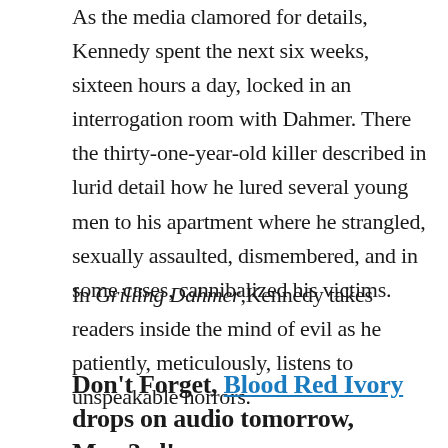As the media clamored for details, Kennedy spent the next six weeks, sixteen hours a day, locked in an interrogation room with Dahmer. There the thirty-one-year-old killer described in lurid detail how he lured several young men to his apartment where he strangled, sexually assaulted, dismembered, and in some cases, cannibalized his victims.
In Grilling Dahmer, Kennedy takes readers inside the mind of evil as he patiently, meticulously, listens to unspeakable horrors.
Don't Forget, Blood Red Ivory drops on audio tomorrow, May 3rd!